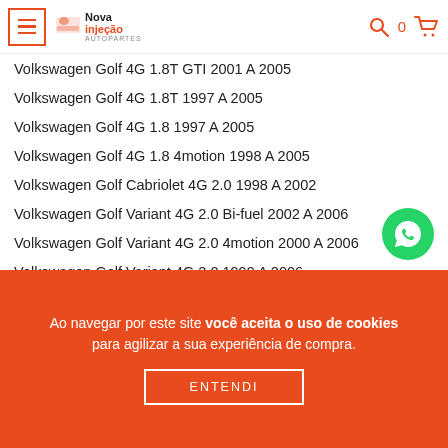Nova Injeção — menu, logo, search, cart
Volkswagen Golf 4G 1.8T GTI 2001 A 2005
Volkswagen Golf 4G 1.8T 1997 A 2005
Volkswagen Golf 4G 1.8 1997 A 2005
Volkswagen Golf 4G 1.8 4motion 1998 A 2005
Volkswagen Golf Cabriolet 4G 2.0 1998 A 2002
Volkswagen Golf Variant 4G 2.0 Bi-fuel 2002 A 2006
Volkswagen Golf Variant 4G 2.0 4motion 2000 A 2006
Volkswagen Golf Variant 4G 2.0 1999 A 2006
Volkswagen Golf 5G 1.4 16v 2003 A 2006
Volkswagen New Beetle 2.0 2007 A 2010
Volkswagen Passat 2.0 4motion 2000 A 2005
Volkswagen Passat 2.0 2000 A 2005
Volkswagen Passat 1.8 1996 A 2000
Ao navegar por este site você aceita o uso de cookies para agilizar a sua experiência de compra.
ENTENDI